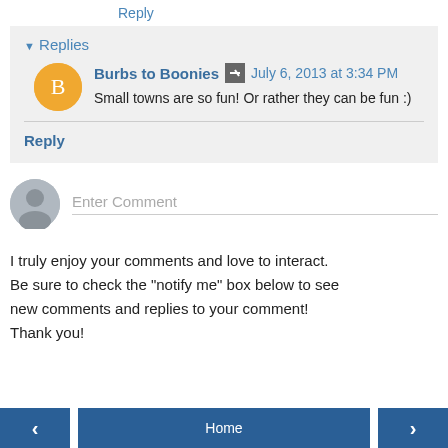Reply
▾ Replies
Burbs to Boonies  July 6, 2013 at 3:34 PM
Small towns are so fun! Or rather they can be fun :)
Reply
Enter Comment
I truly enjoy your comments and love to interact. Be sure to check the "notify me" box below to see new comments and replies to your comment! Thank you!
◀  Home  ▶